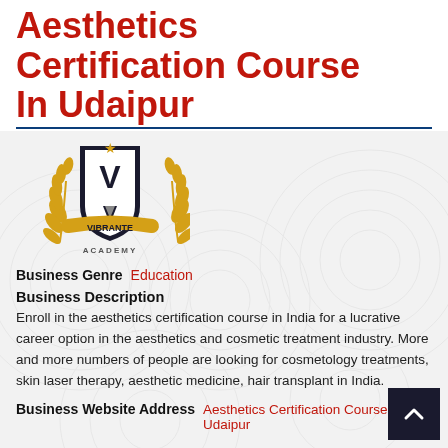Aesthetics Certification Course In Udaipur
[Figure (logo): Vibrante Academy logo with golden laurel wreath, shield with V and pen nib, and 'VIBRANTE ACADEMY' text]
Business Genre   Education
Business Description
Enroll in the aesthetics certification course in India for a lucrative career option in the aesthetics and cosmetic treatment industry. More and more numbers of people are looking for cosmetology treatments, skin laser therapy, aesthetic medicine, hair transplant in India.
Business Website Address   Aesthetics Certification Course Udaipur